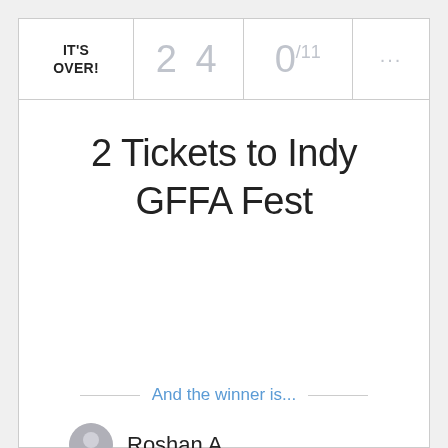IT'S OVER!
2 4
0/11
2 Tickets to Indy GFFA Fest
And the winner is...
Roshan A